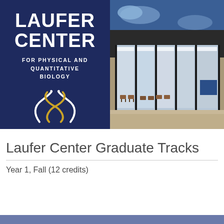[Figure (logo): Laufer Center for Physical and Quantitative Biology logo — dark navy background with white bold text 'LAUFER CENTER' and subtitle 'FOR PHYSICAL AND QUANTITATIVE BIOLOGY', with a gold and white DNA double helix symbol below]
[Figure (photo): Photograph of a modern building exterior at night/dusk, showing large glass windows revealing an illuminated interior with chairs and tables, and a blue screen. Dark structural columns visible.]
Laufer Center Graduate Tracks
Year 1, Fall (12 credits)